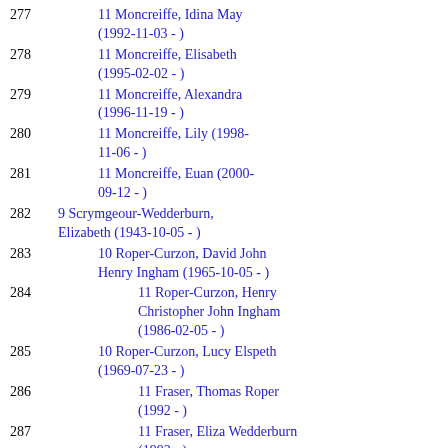277  11 Moncreiffe, Idina May (1992-11-03 - )
278  11 Moncreiffe, Elisabeth (1995-02-02 - )
279  11 Moncreiffe, Alexandra (1996-11-19 - )
280  11 Moncreiffe, Lily (1998-11-06 - )
281  11 Moncreiffe, Euan (2000-09-12 - )
282  9 Scrymgeour-Wedderburn, Elizabeth (1943-10-05 - )
283  10 Roper-Curzon, David John Henry Ingham (1965-10-05 - )
284  11 Roper-Curzon, Henry Christopher John Ingham (1986-02-05 - )
285  10 Roper-Curzon, Lucy Elspeth (1969-07-23 - )
286  11 Fraser, Thomas Roper (1992 - )
287  11 Fraser, Eliza Wedderburn (1993 - )
288  11 Fraser, William Melville